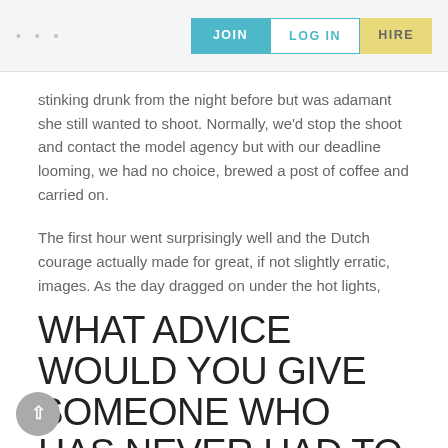... JOIN LOG IN HIRE
stinking drunk from the night before but was adamant she still wanted to shoot. Normally, we'd stop the shoot and contact the model agency but with our deadline looming, we had no choice, brewed a post of coffee and carried on.
The first hour went surprisingly well and the Dutch courage actually made for great, if not slightly erratic, images. As the day dragged on under the hot lights, however, things took at turn. She turned white and we discovered what she had for dinner the night before. Our ice white backdrop was quickly repainted and we nursed her back to health. Her replacement was a delight.
WHAT ADVICE WOULD YOU GIVE SOMEONE WHO HAS NEVER HAD TO POSE FOR A